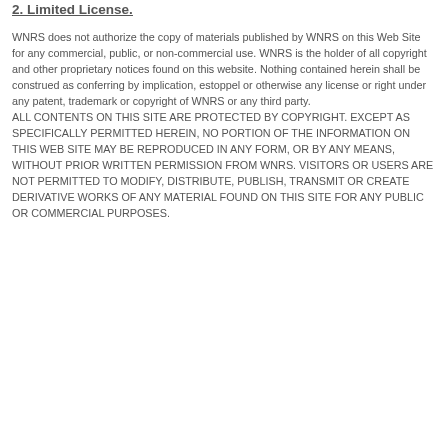2. Limited License.
WNRS does not authorize the copy of materials published by WNRS on this Web Site for any commercial, public, or non-commercial use. WNRS is the holder of all copyright and other proprietary notices found on this website. Nothing contained herein shall be construed as conferring by implication, estoppel or otherwise any license or right under any patent, trademark or copyright of WNRS or any third party.
ALL CONTENTS ON THIS SITE ARE PROTECTED BY COPYRIGHT. EXCEPT AS SPECIFICALLY PERMITTED HEREIN, NO PORTION OF THE INFORMATION ON THIS WEB SITE MAY BE REPRODUCED IN ANY FORM, OR BY ANY MEANS, WITHOUT PRIOR WRITTEN PERMISSION FROM WNRS. VISITORS OR USERS ARE NOT PERMITTED TO MODIFY, DISTRIBUTE, PUBLISH, TRANSMIT OR CREATE DERIVATIVE WORKS OF ANY MATERIAL FOUND ON THIS SITE FOR ANY PUBLIC OR COMMERCIAL PURPOSES.